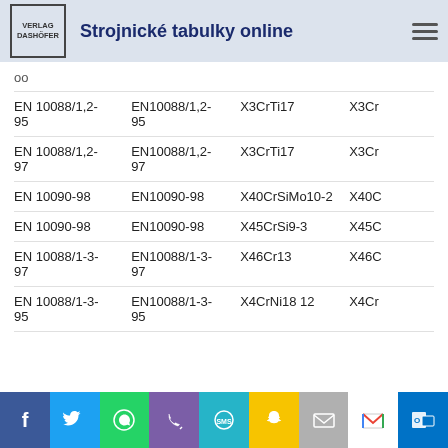Strojnické tabulky online
oo
|  |  |  |  |
| --- | --- | --- | --- |
| EN 10088/1,2-95 | EN10088/1,2-95 | X3CrTi17 | X3Cr… |
| EN 10088/1,2-97 | EN10088/1,2-97 | X3CrTi17 | X3Cr… |
| EN 10090-98 | EN10090-98 | X40CrSiMo10-2 | X40C… |
| EN 10090-98 | EN10090-98 | X45CrSi9-3 | X45C… |
| EN 10088/1-3-97 | EN10088/1-3-97 | X46Cr13 | X46C… |
| EN 10088/1-3-95 | EN10088/1-3-95 | X4CrNi18 12 | X4Cr… |